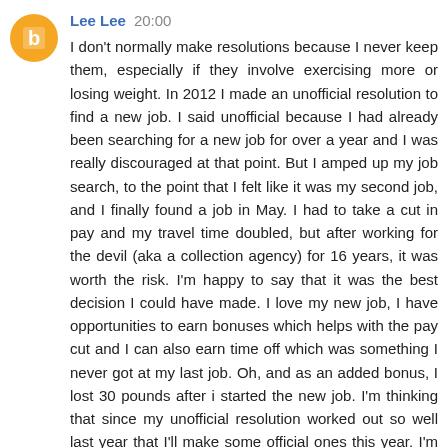Lee Lee 20:00
I don't normally make resolutions because I never keep them, especially if they involve exercising more or losing weight. In 2012 I made an unofficial resolution to find a new job. I said unofficial because I had already been searching for a new job for over a year and I was really discouraged at that point. But I amped up my job search, to the point that I felt like it was my second job, and I finally found a job in May. I had to take a cut in pay and my travel time doubled, but after working for the devil (aka a collection agency) for 16 years, it was worth the risk. I'm happy to say that it was the best decision I could have made. I love my new job, I have opportunities to earn bonuses which helps with the pay cut and I can also earn time off which was something I never got at my last job. Oh, and as an added bonus, I lost 30 pounds after i started the new job. I'm thinking that since my unofficial resolution worked out so well last year that I'll make some official ones this year. I'm gonna steal a couple of yours like cleaning for 10 mins a day and drink more water but also add doing a load of laundry daily. Does doing laundry count as cleaning if I